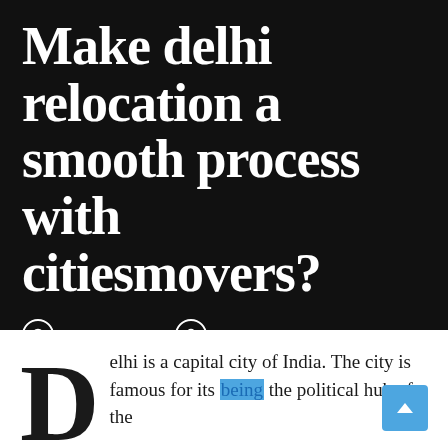Make delhi relocation a smooth process with citiesmovers?
July 10, 2021  Monika Gola
Read Time : 7 Minutes
Delhi is a capital city of India. The city is famous for its being the political hub of the